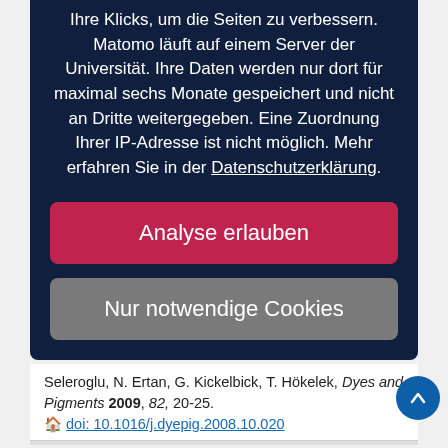Ihre Klicks, um die Seiten zu verbessern. Matomo läuft auf einem Server der Universität. Ihre Daten werden nur dort für maximal sechs Monate gespeichert und nicht an Dritte weitergegeben. Eine Zuordnung Ihrer IP-Adresse ist nicht möglich. Mehr erfahren Sie in der Datenschutzerklärung.
Analyse erlauben
Nur notwendige Cookies
Seleroglu, N. Ertan, G. Kickelbick, T. Hökelek, Dyes and Pigments 2009, 82, 20-25.
doi: 10.1016/j.dyepig.2008.10.020